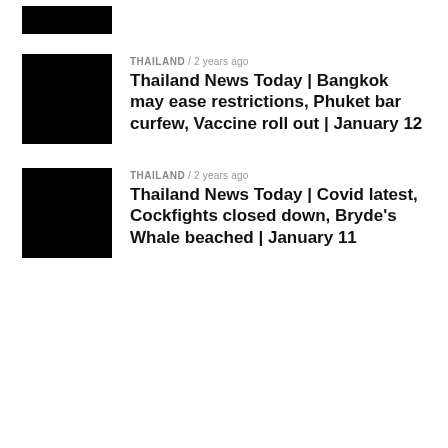[Figure (photo): Black thumbnail image (partially visible at top)]
THAILAND / 2 years ago
Thailand News Today | Bangkok may ease restrictions, Phuket bar curfew, Vaccine roll out | January 12
[Figure (photo): Black thumbnail image for second news item]
THAILAND / 2 years ago
Thailand News Today | Covid latest, Cockfights closed down, Bryde's Whale beached | January 11